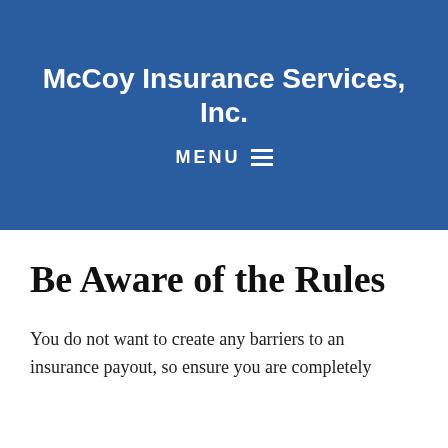you unable to earn a living. Many life insurance policies offer an option to add a rider that pays some portion of the policy limits if you are disabled, which is a wise choice. Choosing the right type of policy is a critical aspect of financial planning, with a full understanding of the fine print. Our helpful and local agent can explain the differences in each policy and guide you to the policy or policies that make the most sense for your family and your budget.
McCoy Insurance Services, Inc.
Be Aware of the Rules
You do not want to create any barriers to an insurance payout, so ensure you are completely